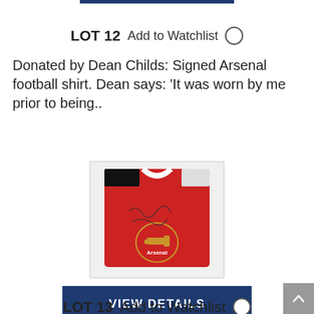LOT 12 Add to Watchlist
Donated by Dean Childs: Signed Arsenal football shirt. Dean says: 'It was worn by me prior to being..
[Figure (photo): Photo of a red Arsenal football shirt with signatures on it, showing the Arsenal crest]
VIEW DETAILS
LOT 13 Add to Watchlist